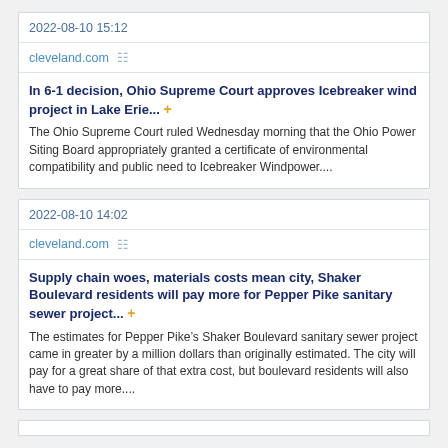2022-08-10 15:12
cleveland.com
In 6-1 decision, Ohio Supreme Court approves Icebreaker wind project in Lake Erie... +
The Ohio Supreme Court ruled Wednesday morning that the Ohio Power Siting Board appropriately granted a certificate of environmental compatibility and public need to Icebreaker Windpower....
2022-08-10 14:02
cleveland.com
Supply chain woes, materials costs mean city, Shaker Boulevard residents will pay more for Pepper Pike sanitary sewer project... +
The estimates for Pepper Pike's Shaker Boulevard sanitary sewer project came in greater by a million dollars than originally estimated. The city will pay for a great share of that extra cost, but boulevard residents will also have to pay more....